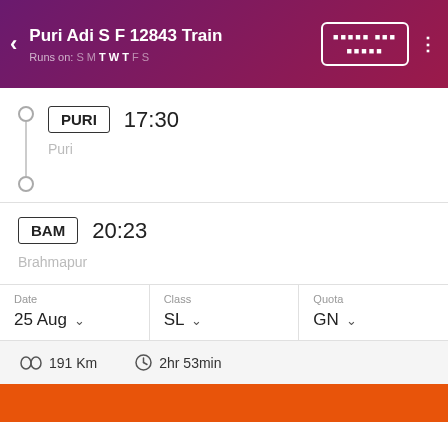Puri Adi S F 12843 Train
Runs on: S M T W T F S
PURI   17:30
Puri
BAM   20:23
Brahmapur
| Date | Class | Quota |
| --- | --- | --- |
| 25 Aug ∨ | SL ∨ | GN ∨ |
191 Km   2hr 53min